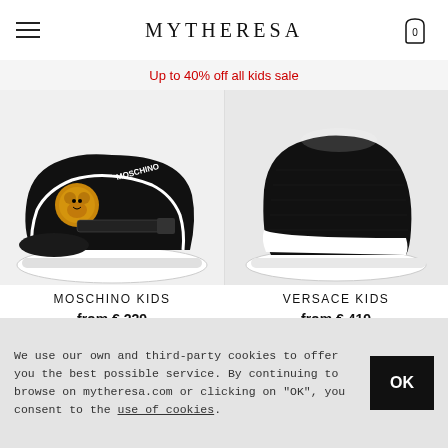MYTHERESA
Up to 40% off all kids sale
[Figure (photo): Moschino Kids black sneaker with bear patch on left, Versace Kids black sock sneaker on right]
MOSCHINO KIDS
from € 229
VERSACE KIDS
from € 419
We use our own and third-party cookies to offer you the best possible service. By continuing to browse on mytheresa.com or clicking on "OK", you consent to the use of cookies.